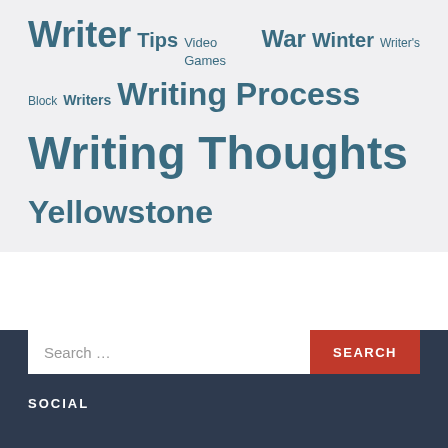Writer Tips Video Games War Winter Writer's Block Writers Writing Process Writing Thoughts Yellowstone
SOCIAL